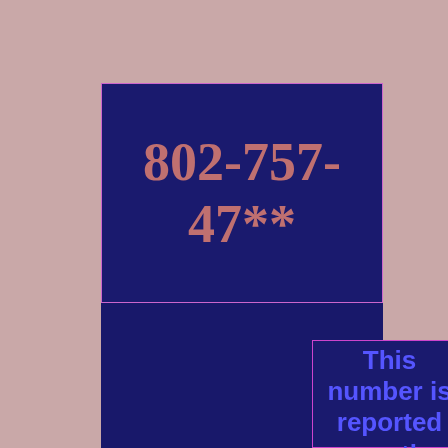802-757-47**
This number is reported mostly